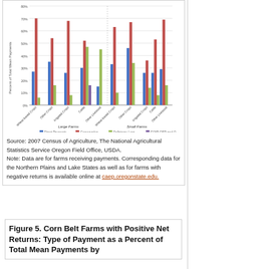[Figure (grouped-bar-chart): Type of Farm]
Source: 2007 Census of Agriculture, The National Agricultural Statistics Service Oregon Field Office, USDA.
Note: Data are for farms receiving payments. Corresponding data for the Northern Plains and Lake States as well as for farms with negative returns is available online at caep.oregonstate.edu.
Figure 5. Corn Belt Farms with Positive Net Returns: Type of Payment as a Percent of Total Mean Payments by
Proposed Changes to the